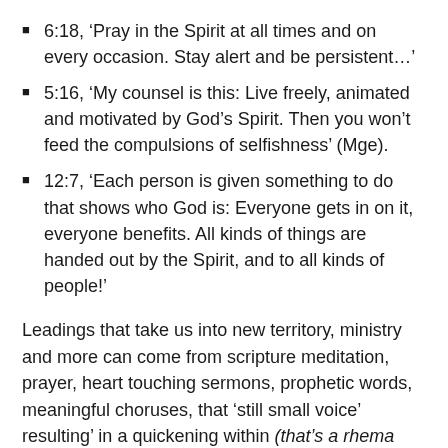6:18, 'Pray in the Spirit at all times and on every occasion. Stay alert and be persistent…'
5:16, 'My counsel is this: Live freely, animated and motivated by God's Spirit. Then you won't feed the compulsions of selfishness' (Mge).
12:7, 'Each person is given something to do that shows who God is: Everyone gets in on it, everyone benefits. All kinds of things are handed out by the Spirit, and to all kinds of people!'
Leadings that take us into new territory, ministry and more can come from scripture meditation, prayer, heart touching sermons, prophetic words, meaningful choruses, that 'still small voice' resulting' in a quickening within (that's a rhema word). We'll know that we know that we know! Then we can daringly move on and ahead.